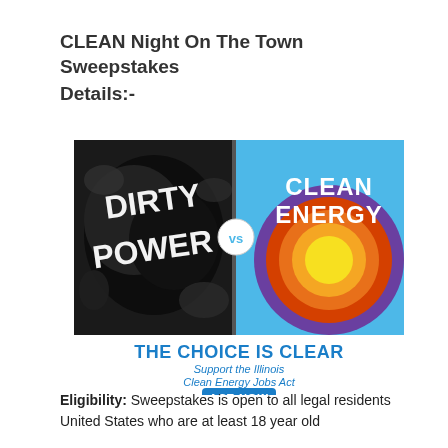CLEAN Night On The Town Sweepstakes Details:-
[Figure (illustration): Split image showing 'Dirty Power' in black and white grunge lettering on the left versus 'Clean Energy' with colorful concentric circles (sun design) on a blue background on the right, with 'vs' in the center. Below: 'THE CHOICE IS CLEAR' in blue bold text, 'Support the Illinois Clean Energy Jobs Act' in blue italic text, and an 'ACT NOW' blue button.]
Eligibility: Sweepstakes is open to all legal residents United States who are at least 18 year old